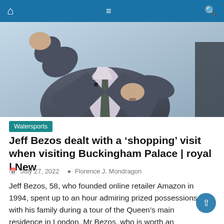Navigation bar with home, menu, and search icons
[Figure (photo): A man in a grey suit and patterned tie gesturing with his hands against a light blue background, photographed from the chest up.]
Watersports
Jeff Bezos dealt with a ‘shopping’ visit when visiting Buckingham Palace | royal | New
July 27, 2022   Florence J. Mondragon
Jeff Bezos, 58, who founded online retailer Amazon in 1994, spent up to an hour admiring prized possessions with his family during a tour of the Queen’s main residence in London. Mr Bezos, who is worth an estimated £123billion, managed to see an exhibit which included Her Majesty’s